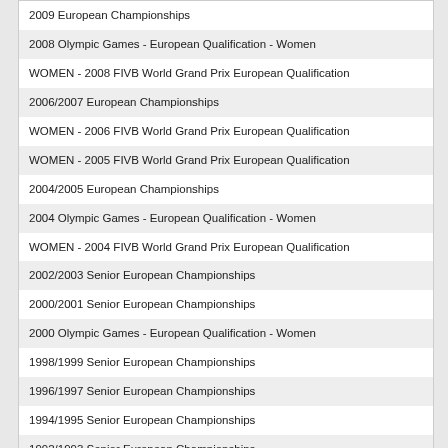2009 European Championships
2008 Olympic Games - European Qualification - Women
WOMEN - 2008 FIVB World Grand Prix European Qualification
2006/2007 European Championships
WOMEN - 2006 FIVB World Grand Prix European Qualification
WOMEN - 2005 FIVB World Grand Prix European Qualification
2004/2005 European Championships
2004 Olympic Games - European Qualification - Women
WOMEN - 2004 FIVB World Grand Prix European Qualification
2002/2003 Senior European Championships
2000/2001 Senior European Championships
2000 Olympic Games - European Qualification - Women
1998/1999 Senior European Championships
1996/1997 Senior European Championships
1994/1995 Senior European Championships
1992/1993 Senior European Championships
1990/1991 Senior European Championships